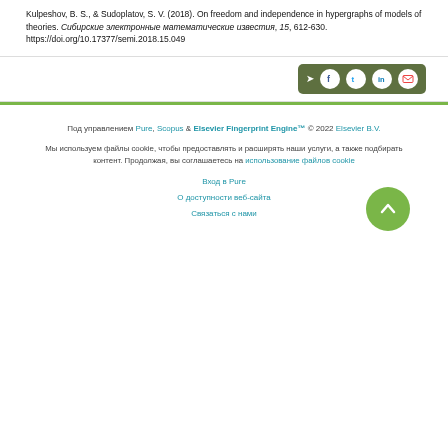Kulpeshov, B. S., & Sudoplatov, S. V. (2018). On freedom and independence in hypergraphs of models of theories. Сибирские электронные математические известия, 15, 612-630. https://doi.org/10.17377/semi.2018.15.049
[Figure (other): Social share buttons bar with icons for sharing (share arrow), Facebook, Twitter, LinkedIn, and email on a dark green background]
Под управлением Pure, Scopus & Elsevier Fingerprint Engine™ © 2022 Elsevier B.V.
Мы используем файлы cookie, чтобы предоставлять и расширять наши услуги, а также подбирать контент. Продолжая, вы соглашаетесь на использование файлов cookie
Вход в Pure
О доступности веб-сайта
Связаться с нами